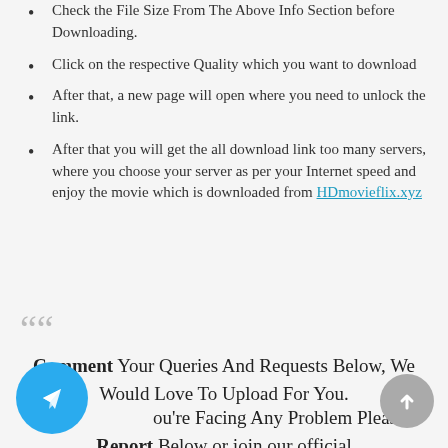Check the File Size From The Above Info Section before Downloading.
Click on the respective Quality which you want to download
After that, a new page will open where you need to unlock the link.
After that you will get the all download link too many servers, where you choose your server as per your Internet speed and enjoy the movie which is downloaded from HDmovieflix.xyz
““ Comment Your Queries And Requests Below, We Would Love To Upload For You.
If You're Facing Any Problem Please Report Below or join our official telegram channel